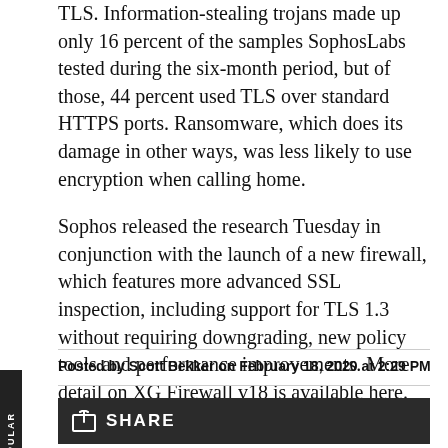TLS. Information-stealing trojans made up only 16 percent of the samples SophosLabs tested during the six-month period, but of those, 44 percent used TLS over standard HTTPS ports. Ransomware, which does its damage in other ways, was less likely to use encryption when calling home.
Sophos released the research Tuesday in conjunction with the launch of a new firewall, which features more advanced SSL inspection, including support for TLS 1.3 without requiring downgrading, new policy tools and performance improvements. More detail on XG Firewall v18 is available here.
Posted by Scott Bekker on February 18, 2020 at 2:29 PM